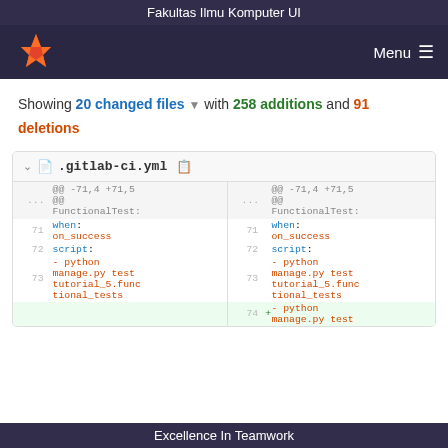Fakultas Ilmu Komputer UI
[Figure (logo): GitLab fox logo in orange/red on dark purple navigation bar with Menu button]
Showing 20 changed files with 258 additions and 91 deletions
[Figure (screenshot): Git diff view of .gitlab-ci.yml showing lines 71-74 with when: on_success, script:, - python manage.py test tutorial_5.functional_tests, and a new added line 74 + - python manage.py test]
Excellence In Teamwork